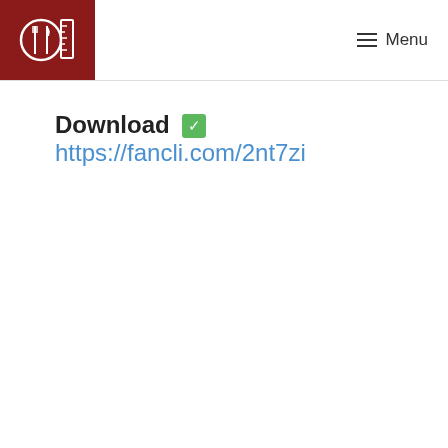Menu
Download ✅ https://fancli.com/2nt7zi